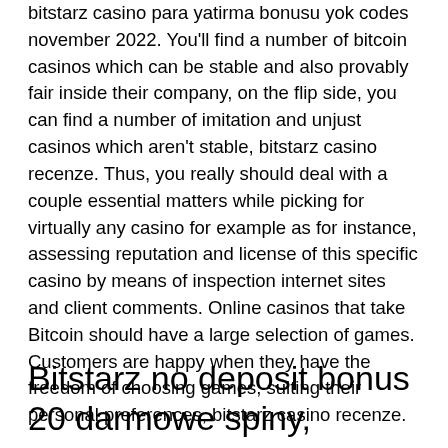bitstarz casino para yatirma bonusu yok codes november 2022. You'll find a number of bitcoin casinos which can be stable and also provably fair inside their company, on the flip side, you can find a number of imitation and unjust casinos which aren't stable, bitstarz casino recenze. Thus, you really should deal with a couple essential matters while picking for virtually any casino for example as for instance, assessing reputation and license of this specific casino by means of inspection internet sites and client comments. Online casinos that take Bitcoin should have a large selection of games. Customers are happy when they have the freedom of choosing games, suiting their personal preferences, bitstarz casino recenze.
Bitstarz no deposit bonus 20 darmowe spiny,